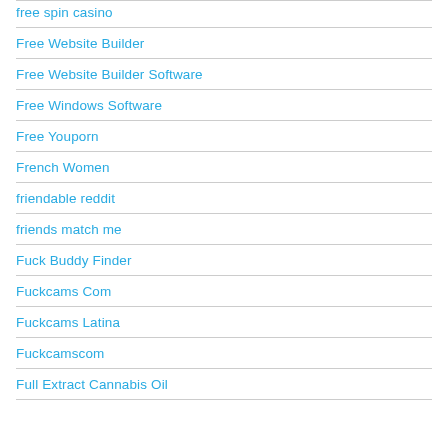free spin casino
Free Website Builder
Free Website Builder Software
Free Windows Software
Free Youporn
French Women
friendable reddit
friends match me
Fuck Buddy Finder
Fuckcams Com
Fuckcams Latina
Fuckcamscom
Full Extract Cannabis Oil